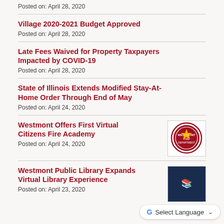Posted on: April 28, 2020
Village 2020-2021 Budget Approved
Posted on: April 28, 2020
Late Fees Waived for Property Taxpayers Impacted by COVID-19
Posted on: April 28, 2020
State of Illinois Extends Modified Stay-At-Home Order Through End of May
Posted on: April 24, 2020
Westmont Offers First Virtual Citizens Fire Academy
Posted on: April 24, 2020
[Figure (logo): Westmont fire department circular seal/logo in red and white]
Westmont Public Library Expands Virtual Library Experience
Posted on: April 23, 2020
[Figure (photo): Dark blue background with partial library-related image]